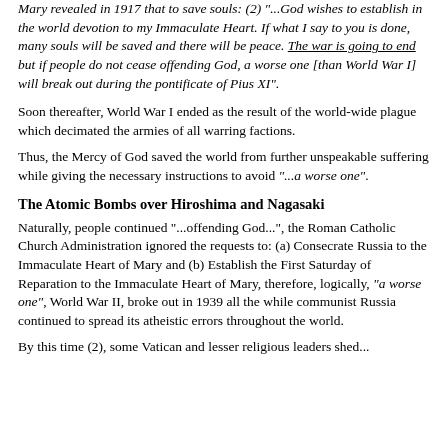Mary revealed in 1917 that to save souls: (2) "...God wishes to establish in the world devotion to my Immaculate Heart. If what I say to you is done, many souls will be saved and there will be peace. The war is going to end but if people do not cease offending God, a worse one [than World War I] will break out during the pontificate of Pius XI".
Soon thereafter, World War I ended as the result of the world-wide plague which decimated the armies of all warring factions.
Thus, the Mercy of God saved the world from further unspeakable suffering while giving the necessary instructions to avoid "...a worse one".
The Atomic Bombs over Hiroshima and Nagasaki
Naturally, people continued "...offending God...", the Roman Catholic Church Administration ignored the requests to: (a) Consecrate Russia to the Immaculate Heart of Mary and (b) Establish the First Saturday of Reparation to the Immaculate Heart of Mary, therefore, logically, "a worse one", World War II, broke out in 1939 all the while communist Russia continued to spread its atheistic errors throughout the world.
By this time (2), some Vatican and lesser religious leaders shed...